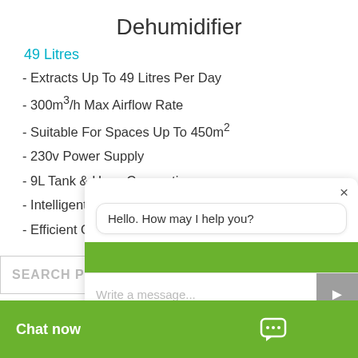Dehumidifier
49 Litres
- Extracts Up To 49 Litres Per Day
- 300m³/h Max Airflow Rate
- Suitable For Spaces Up To 450m²
- 230v Power Supply
- 9L Tank & Hose Connection
- Intelligent Hot Gas Defrost Function
- Efficient Operation
Hello. How may I help you?
Write a message...
SEARCH PRO
Chat now